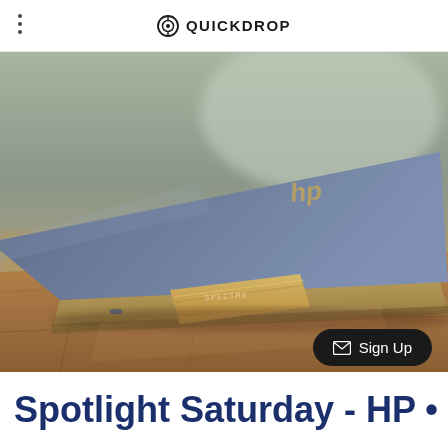QUICKDROP
[Figure (photo): Close-up photo of an HP Spectre laptop partially open, showing the hinge with gold 'SPECTRE' text, navy blue lid with HP logo, resting on a wooden surface. Blurred background.]
Sign Up
Spotlight Saturday - HP ... Mar